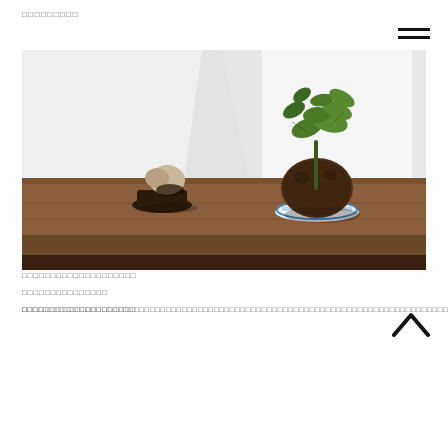□□□□□□□□□
[Figure (photo): A wooden table surface with a small kokedama (moss ball) plant with green leaves on a blue and white ceramic dish on the right, and a small ceramic figurine or rock on a dark wooden base on the left. Background is a light grey/white wall with soft shadows.]
□□□□□□□□□□□□□□□□□□□□
□□□□□□□□□□□□□□
□□□□□□□□□□□□□□□□□□□□
□□□□□□□□□□□□□□□□□□□□□□□□□□□□□□□□□□□□□□□□□□□□□□□□□□□□□□□□□□□□□□□□□□□□□□□□□□□□□□□□□□□□□□□□□□□□□□□□□□□□□□□□□□□□□□□□□□□□□□□□